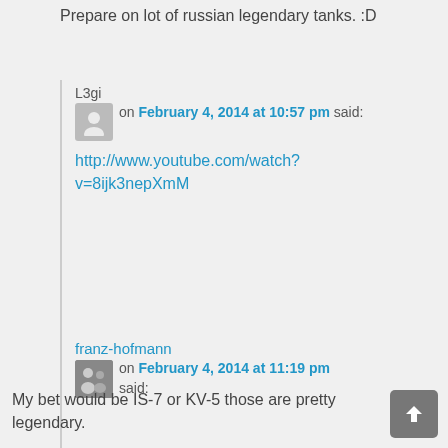Prepare on lot of russian legendary tanks. :D
L3gi
on February 4, 2014 at 10:57 pm said:
http://www.youtube.com/watch?v=8ijk3nepXmM
franz-hofmann
on February 4, 2014 at 11:19 pm said:
My bet would be IS-7 or KV-5 those are pretty legendary.